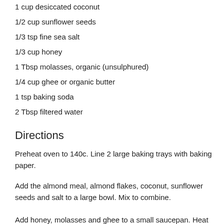1 cup desiccated coconut
1/2 cup sunflower seeds
1/3 tsp fine sea salt
1/3 cup honey
1 Tbsp molasses, organic (unsulphured)
1/4 cup ghee or organic butter
1 tsp baking soda
2 Tbsp filtered water
Directions
Preheat oven to 140c. Line 2 large baking trays with baking paper.
Add the almond meal, almond flakes, coconut, sunflower seeds and salt to a large bowl. Mix to combine.
Add honey, molasses and ghee to a small saucepan. Heat